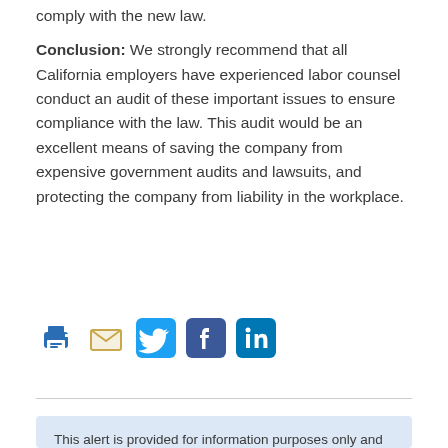comply with the new law.
Conclusion: We strongly recommend that all California employers have experienced labor counsel conduct an audit of these important issues to ensure compliance with the law. This audit would be an excellent means of saving the company from expensive government audits and lawsuits, and protecting the company from liability in the workplace.
[Figure (other): Social sharing icons: print, email, Twitter, Facebook, LinkedIn]
This alert is provided for information purposes only and does not constitute legal advice and is